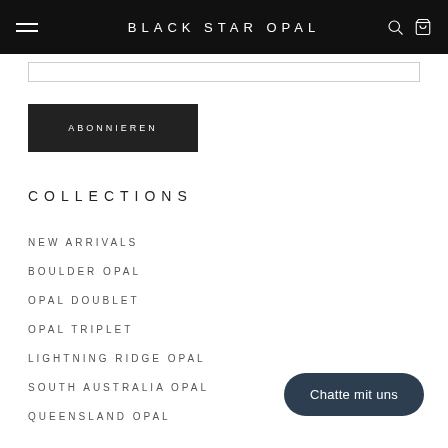BLACK STAR OPAL
ABONNIEREN
COLLECTIONS
NEW ARRIVALS
BOULDER OPAL
OPAL DOUBLET
OPAL TRIPLET
LIGHTNING RIDGE OPAL
SOUTH AUSTRALIA OPAL
QUEENSLAND OPAL
Chatte mit uns